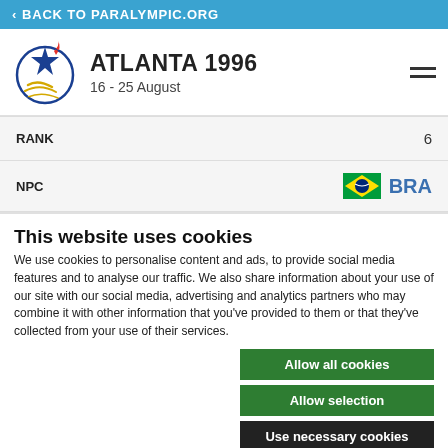< BACK TO PARALYMPIC.ORG
ATLANTA 1996
16 - 25 August
| Field | Value |
| --- | --- |
| RANK | 6 |
| NPC | BRA |
This website uses cookies
We use cookies to personalise content and ads, to provide social media features and to analyse our traffic. We also share information about your use of our site with our social media, advertising and analytics partners who may combine it with other information that you've provided to them or that they've collected from your use of their services.
Allow all cookies
Allow selection
Use necessary cookies
Necessary  Preferences  Statistics
Show details